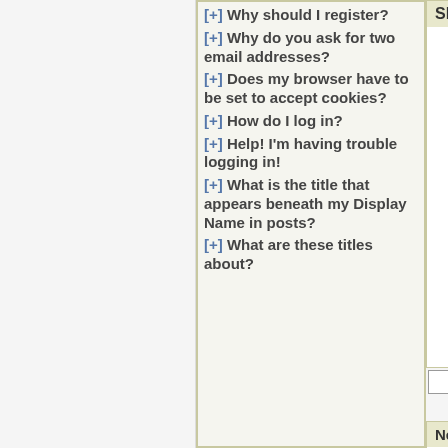[+] Why should I register?
[+] Why do you ask for two email addresses?
[+] Does my browser have to be set to accept cookies?
[+] How do I log in?
[+] Help! I'm having trouble logging in!
[+] What is the title that appears beneath my Display Name in posts?
[+] What are these titles about?
Shout Box
Newest Members
bong leal70, traveler2020, Donna Sallstrom, bettyhut
7772 Registered Users